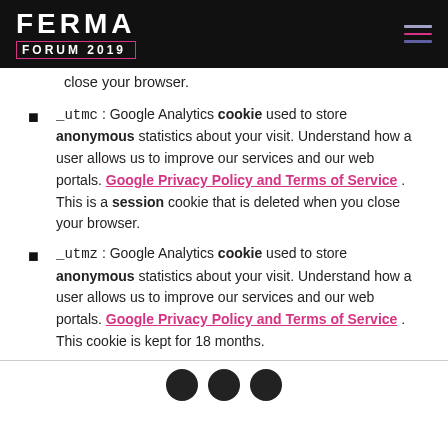FERMA FORUM 2019
close your browser.
_utmc : Google Analytics cookie used to store anonymous statistics about your visit. Understand how a user allows us to improve our services and our web portals. Google Privacy Policy and Terms of Service . This is a session cookie that is deleted when you close your browser.
_utmz : Google Analytics cookie used to store anonymous statistics about your visit. Understand how a user allows us to improve our services and our web portals. Google Privacy Policy and Terms of Service . This cookie is kept for 18 months.